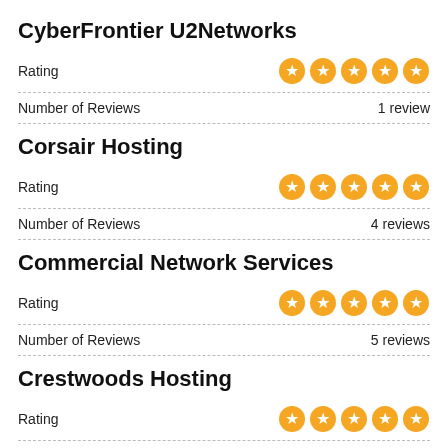CyberFrontier U2Networks
| Field | Value |
| --- | --- |
| Rating | 5 stars |
| Number of Reviews | 1 review |
Corsair Hosting
| Field | Value |
| --- | --- |
| Rating | 5 stars |
| Number of Reviews | 4 reviews |
Commercial Network Services
| Field | Value |
| --- | --- |
| Rating | 5 stars |
| Number of Reviews | 5 reviews |
Crestwoods Hosting
| Field | Value |
| --- | --- |
| Rating | 5 stars |
| Number of Reviews | 3 reviews |